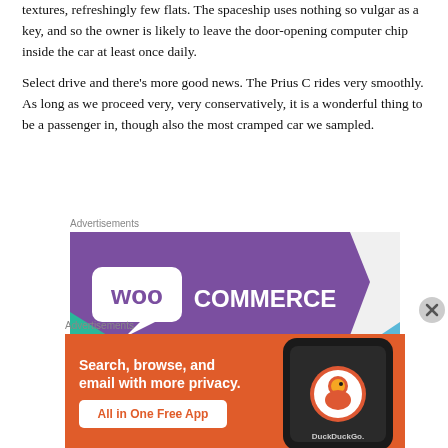textures, refreshingly few flats. The spaceship uses nothing so vulgar as a key, and so the owner is likely to leave the door-opening computer chip inside the car at least once daily.
Select drive and there's more good news. The Prius C rides very smoothly. As long as we proceed very, very conservatively, it is a wonderful thing to be a passenger in, though also the most cramped car we sampled.
[Figure (infographic): WooCommerce advertisement banner with purple speech bubble logo on white/grey background with teal triangle accent]
[Figure (infographic): DuckDuckGo advertisement banner: orange background with text 'Search, browse, and email with more privacy. All in One Free App' and phone image with DuckDuckGo logo]